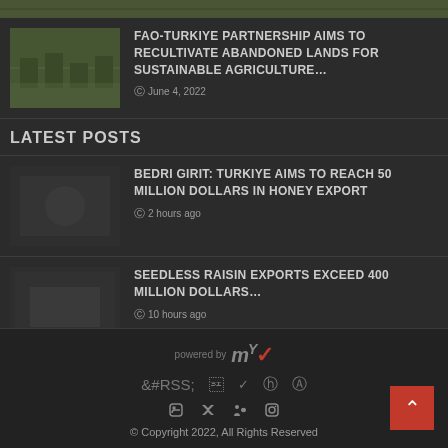[Figure (photo): Top strip partial image of agricultural fields]
[Figure (photo): Aerial view of agricultural land with green and brown fields]
FAO-TURKIYE PARTNERSHIP AIMS TO RECULTIVATE ABANDONED LANDS FOR SUSTAINABLE AGRICULTURE…
June 4, 2022
LATEST POSTS
[Figure (photo): Dark thumbnail image for honey export article]
BEDRI GIRIT: TURKIYE AIMS TO REACH 50 MILLION DOLLARS IN HONEY EXPORT
2 hours ago
[Figure (photo): Dark thumbnail image for raisin exports article]
SEEDLESS RAISIN EXPORTS EXCEED 400 MILLION DOLLARS…
10 hours ago
powered by MY © Copyright 2022, All Rights Reserved